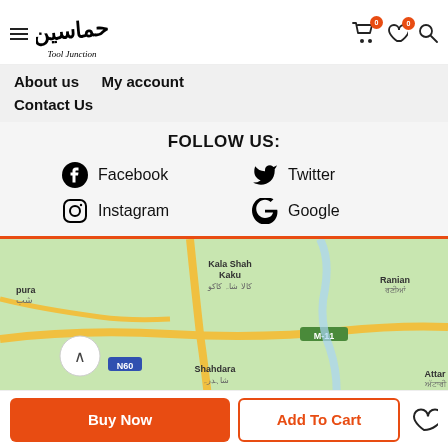Tool Junction — header with logo, hamburger menu, cart (0), wishlist (0), search
About us   My account
Contact Us
FOLLOW US:
Facebook
Twitter
Instagram
Google
[Figure (map): Google Maps view showing Kala Shah Kaku, Shahdara, Ranian, N60, M-11 and surrounding area near Lahore, Pakistan]
Buy Now   Add To Cart